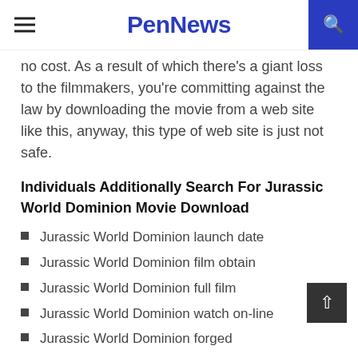PenNews
no cost. As a result of which there's a giant loss to the filmmakers, you're committing against the law by downloading the movie from a web site like this, anyway, this type of web site is just not safe.
Individuals Additionally Search For Jurassic World Dominion Movie Download
Jurassic World Dominion launch date
Jurassic World Dominion film obtain
Jurassic World Dominion full film
Jurassic World Dominion watch on-line
Jurassic World Dominion forged